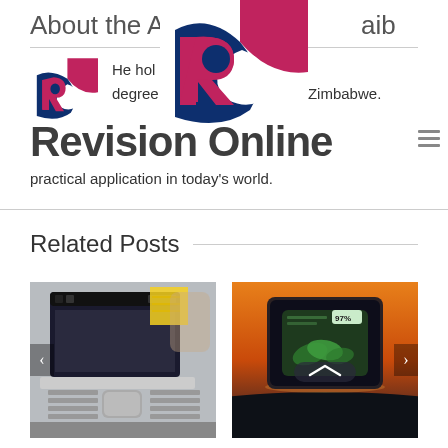About the Author
[Figure (logo): Small RC Revision Online logo (square, pink and navy)]
He holds an Accountancy degree from the University of Zimbabwe. He is passionate about technology and its practical application in today's world.
[Figure (logo): Large RC Revision Online logo (square, pink and navy) overlaid on text]
[Figure (logo): Revision Online wordmark in large bold dark grey text]
Related Posts
[Figure (photo): Close-up photo of a laptop keyboard and trackpad]
[Figure (photo): Photo of a tablet screen showing 97% battery level with sunset background]